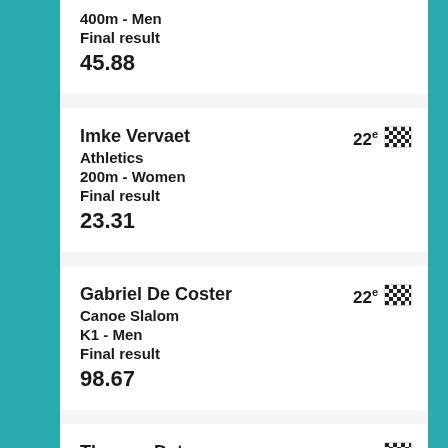400m - Men
Final result
45.88
Imke Vervaet
Athletics
200m - Women
Final result
23.31
22e
Gabriel De Coster
Canoe Slalom
K1 - Men
Final result
98.67
22e
Thomas Detry
22e